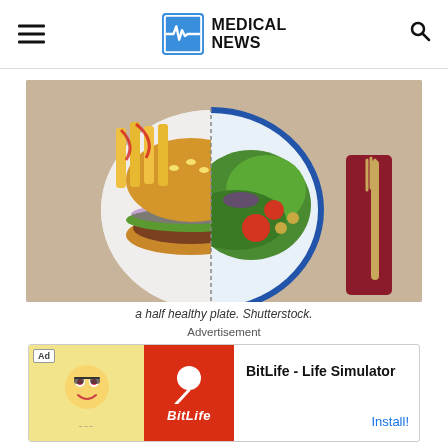MEDICAL NEWS
[Figure (photo): A split plate showing half with unhealthy food (burger and fries with ketchup) and half with healthy food (salad with tomatoes, lettuce, and olives), accompanied by a fork on a dark red napkin. Beige textured background.]
a half healthy plate. Shutterstock.
Advertisement
[Figure (infographic): Advertisement banner for BitLife - Life Simulator app. Shows ad tag, cartoon mascot on yellow background, BitLife logo on red background, app name text, and Install button.]